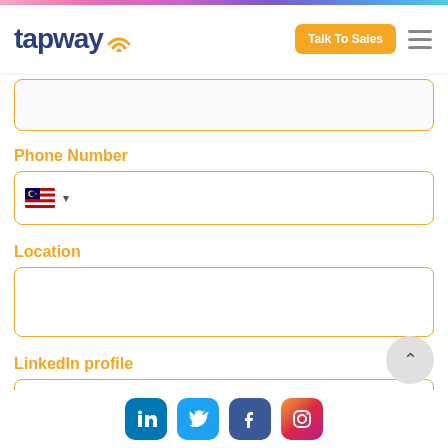tapway — Talk To Sales navigation bar
(empty input field — top of page, partially visible)
Phone Number
(phone input with Malaysia flag selector)
Location
(empty text input for location)
LinkedIn profile
(empty text input for LinkedIn profile, partially visible)
LinkedIn, Twitter, Facebook, Instagram social icons